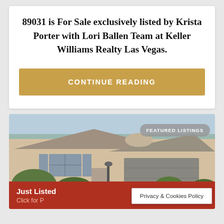89031 is For Sale exclusively listed by Krista Porter with Lori Ballen Team at Keller Williams Realty Las Vegas.
CONTINUE READING
[Figure (photo): Exterior photo of a single-story stucco home with tiled roof, garage, and desert landscaping. A 'FEATURED LISTINGS' badge is overlaid in the top right corner. A red 'Just Listed / Click for ...' banner appears at the bottom.]
Privacy & Cookies Policy